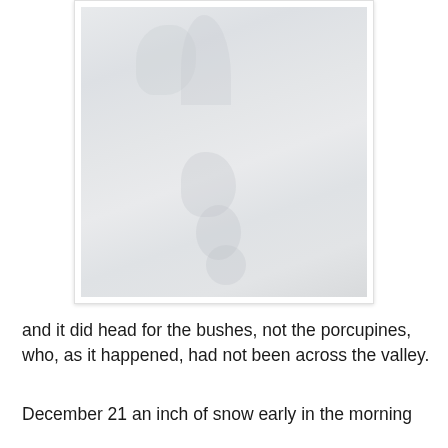[Figure (photo): A photograph showing faint impressions or tracks in snow, visible as subtle depressions against a light grey-white snowy background.]
and it did head for the bushes, not the porcupines, who, as it happened, had not been across the valley.
December 21 an inch of snow early in the morning